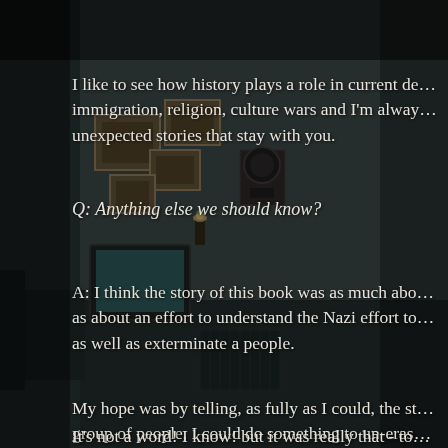I like to see how history plays a role in current de… immigration, religion, culture wars and I'm alway… unexpected stories that stay with you.
Q: Anything else we should know?
A: I think the story of this book was as much abo… as about an effort to understand the Nazi effort to… as well as exterminate a people.
My hope was by telling, as fully as I could, the st… group of people, I could do something to un-eras…
It's not a word! I know! but it was really that - to…